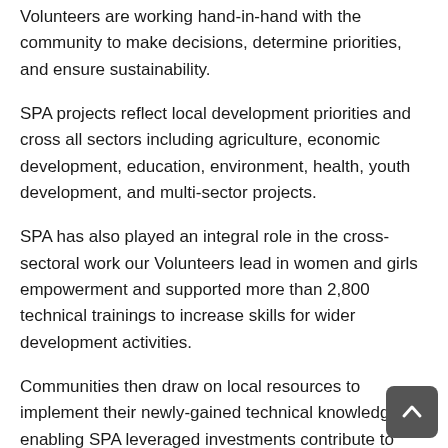Volunteers are working hand-in-hand with the community to make decisions, determine priorities, and ensure sustainability.
SPA projects reflect local development priorities and cross all sectors including agriculture, economic development, education, environment, health, youth development, and multi-sector projects.
SPA has also played an integral role in the cross-sectoral work our Volunteers lead in women and girls empowerment and supported more than 2,800 technical trainings to increase skills for wider development activities.
Communities then draw on local resources to implement their newly-gained technical knowledge—enabling SPA leveraged investments contribute to long-term capacity-